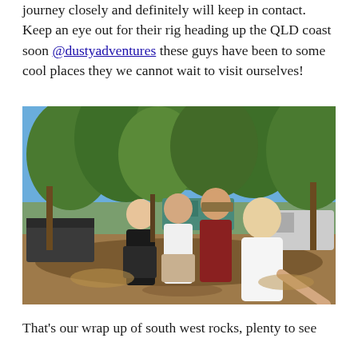journey closely and definitely will keep in contact. Keep an eye out for their rig heading up the QLD coast soon @dustyadventures these guys have been to some cool places they we cannot wait to visit ourselves!
[Figure (photo): Group selfie of four people (two women and two men) standing together outdoors at a campsite with trees, camper trailers and vehicles in the background on a sunny day.]
That's our wrap up of south west rocks, plenty to see